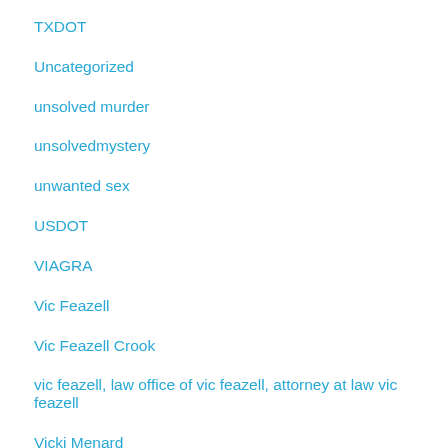TXDOT
Uncategorized
unsolved murder
unsolvedmystery
unwanted sex
USDOT
VIAGRA
Vic Feazell
Vic Feazell Crook
vic feazell, law office of vic feazell, attorney at law vic feazell
Vicki Menard
Waco
Waco Attempted Murder Lawyers